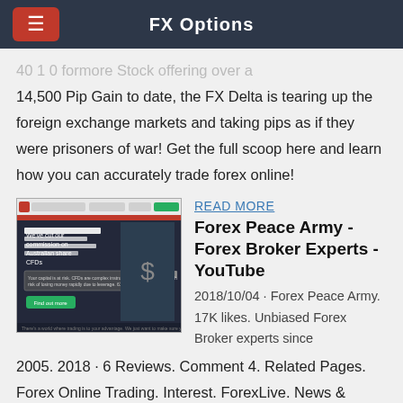FX Options
14,500 Pip Gain to date, the FX Delta is tearing up the foreign exchange markets and taking pips as if they were prisoners of war! Get the full scoop here and learn how you can accurately trade forex online!
[Figure (screenshot): Screenshot of a financial trading website with dark background showing 'We've cut our commission on Australian share CFDs']
READ MORE
Forex Peace Army - Forex Broker Experts - YouTube
2018/10/04 · Forex Peace Army. 17K likes. Unbiased Forex Broker experts since 2005. 2018 · 6 Reviews. Comment 4. Related Pages. Forex Online Trading. Interest. ForexLive. News & Media Website. Investor's Business Daily. Media/News Company. Photos. Forex Peace Army. Gold market calms down a bit. As we're coming to weekend - chances on pullback that we